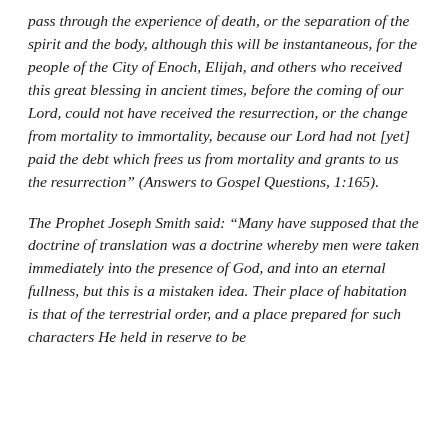pass through the experience of death, or the separation of the spirit and the body, although this will be instantaneous, for the people of the City of Enoch, Elijah, and others who received this great blessing in ancient times, before the coming of our Lord, could not have received the resurrection, or the change from mortality to immortality, because our Lord had not [yet] paid the debt which frees us from mortality and grants to us the resurrection” (Answers to Gospel Questions, 1:165).
The Prophet Joseph Smith said: “Many have supposed that the doctrine of translation was a doctrine whereby men were taken immediately into the presence of God, and into an eternal fullness, but this is a mistaken idea. Their place of habitation is that of the terrestrial order, and a place prepared for such characters He held in reserve to be